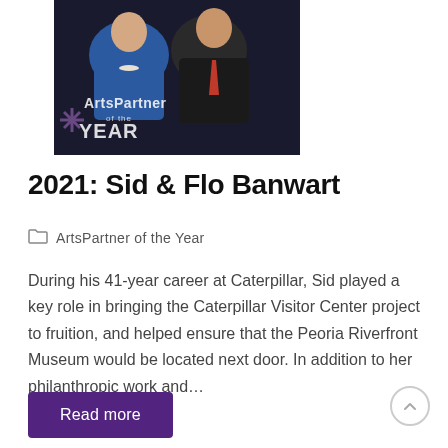[Figure (photo): Photo of Sid and Flo Banwart with 'ArtsPartner of the Year' text overlay. A woman in blue jacket and a man in dark suit with red tie are pictured together.]
2021: Sid & Flo Banwart
ArtsPartner of the Year
During his 41-year career at Caterpillar, Sid played a key role in bringing the Caterpillar Visitor Center project to fruition, and helped ensure that the Peoria Riverfront Museum would be located next door. In addition to her philanthropic work and...
Read more